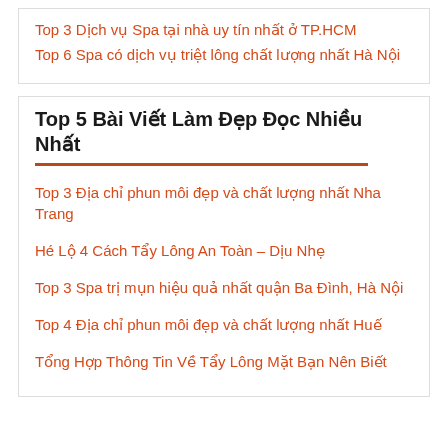Top 3 Dịch vụ Spa tại nhà uy tín nhất ở TP.HCM
Top 6 Spa có dịch vụ triệt lông chất lượng nhất Hà Nội
Top 5 Bài Viết Làm Đẹp Đọc Nhiều Nhất
Top 3 Địa chỉ phun môi đẹp và chất lượng nhất Nha Trang
Hé Lộ 4 Cách Tẩy Lông An Toàn – Dịu Nhẹ
Top 3 Spa trị mụn hiệu quả nhất quận Ba Đình, Hà Nội
Top 4 Địa chỉ phun môi đẹp và chất lượng nhất Huế
Tổng Hợp Thông Tin Về Tẩy Lông Mặt Bạn Nên Biết